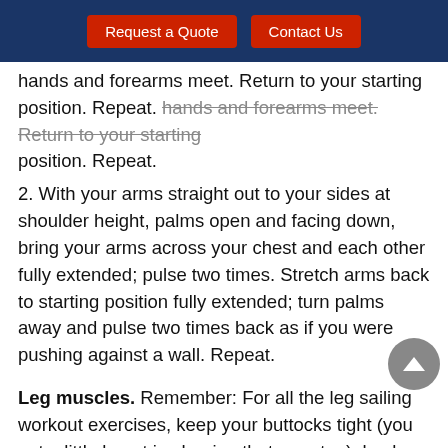Request a Quote | Contact Us
hands and forearms meet. Return to your starting position. Repeat.
2. With your arms straight out to your sides at shoulder height, palms open and facing down, bring your arms across your chest and each other fully extended; pulse two times. Stretch arms back to starting position fully extended; turn palms away and pulse two times back as if you were pushing against a wall. Repeat.
Leg muscles. Remember: For all the leg sailing workout exercises, keep your buttocks tight (you get a little boost in shaping that area too), back straight, and stomach muscles tensed.